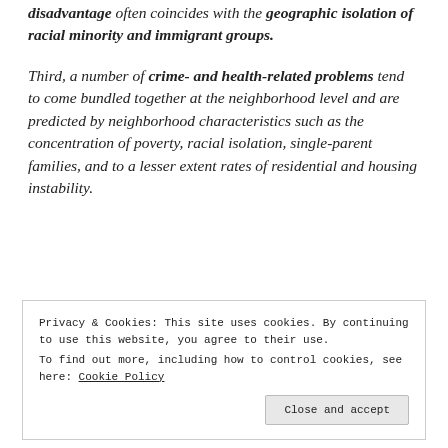disadvantage often coincides with the geographic isolation of racial minority and immigrant groups.
Third, a number of crime- and health-related problems tend to come bundled together at the neighborhood level and are predicted by neighborhood characteristics such as the concentration of poverty, racial isolation, single-parent families, and to a lesser extent rates of residential and housing instability.
Privacy & Cookies: This site uses cookies. By continuing to use this website, you agree to their use. To find out more, including how to control cookies, see here: Cookie Policy